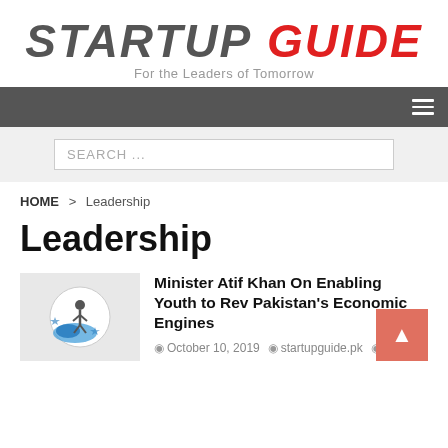STARTUP GUIDE — For the Leaders of Tomorrow
Navigation bar with hamburger menu
SEARCH ...
HOME > Leadership
Leadership
Minister Atif Khan On Enabling Youth to Rev Pakistan's Economic Engines
October 10, 2019  startupguide.pk  0